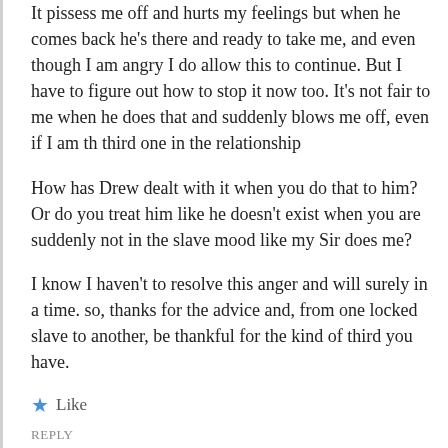It pissess me off and hurts my feelings but when he comes back he's there and ready to take me, and even though I am angry I do allow this to continue. But I have to figure out how to stop it now too. It's not fair to me when he does that and suddenly blows me off, even if I am th third one in the relationship
How has Drew dealt with it when you do that to him? Or do you treat him like he doesn't exist when you are suddenly not in the slave mood like my Sir does me?
I know I haven't to resolve this anger and will surely in a time. so, thanks for the advice and, from one locked slave to another, be thankful for the kind of third you have.
★ Like
REPLY